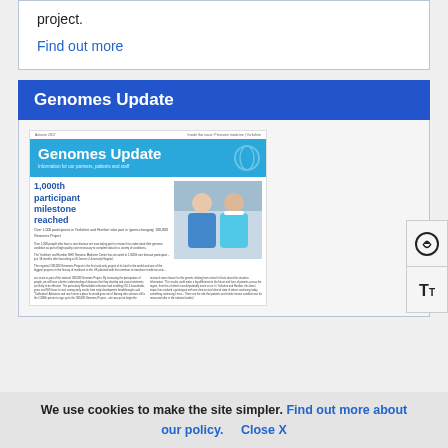project.
Find out more
Genomes Update
[Figure (screenshot): Screenshot of a Genomes Update newsletter page showing '1,000th participant milestone reached' headline with two women in a healthcare setting, and body text about the 100,000 Genomes Project]
We use cookies to make the site simpler. Find out more about our policy. Close X